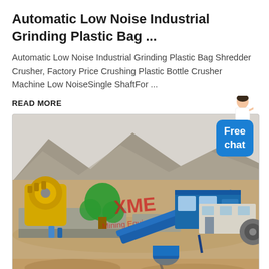Automatic Low Noise Industrial Grinding Plastic Bag ...
Automatic Low Noise Industrial Grinding Plastic Bag Shredder Crusher, Factory Price Crushing Plastic Bottle Crusher Machine Low NoiseSingle ShaftFor ...
READ MORE
[Figure (photo): Industrial grinding/crushing machine installation at an outdoor site with mountains in background, featuring yellow and green machinery, a blue conveyor belt, and a blue modular building. XME Mining Equipment watermark visible in red/green.]